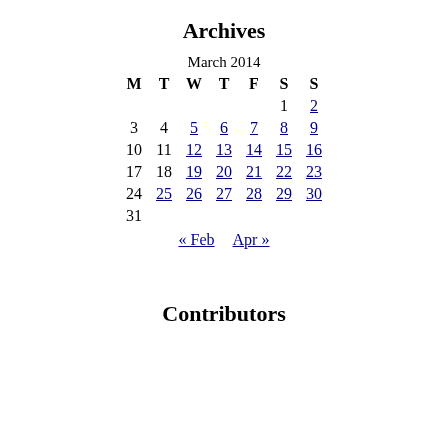Archives
| M | T | W | T | F | S | S |
| --- | --- | --- | --- | --- | --- | --- |
|  |  |  |  |  | 1 | 2 |
| 3 | 4 | 5 | 6 | 7 | 8 | 9 |
| 10 | 11 | 12 | 13 | 14 | 15 | 16 |
| 17 | 18 | 19 | 20 | 21 | 22 | 23 |
| 24 | 25 | 26 | 27 | 28 | 29 | 30 |
| 31 |  |  |  |  |  |  |
« Feb   Apr »
Contributors